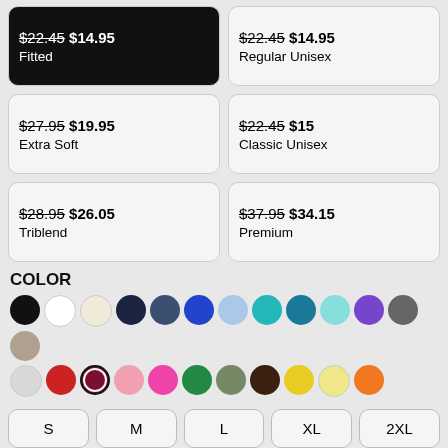$22.45 $14.95 Fitted
$22.45 $14.95 Regular Unisex
$27.95 $19.95 Extra Soft
$22.45 $15 Classic Unisex
$28.95 $26.05 Triblend
$37.95 $34.15 Premium
COLOR
[Figure (infographic): Color swatches: black, white, cream, navy, slate, royal blue, light blue, teal, dark teal, light teal, purple, dark gray, tan, light gray, red, dark red (selected), pink, hot pink, green, olive, dark brown, yellow, light yellow, orange]
S  M  L  XL  2XL
The fitted t-shirt is an everyday staple. Features 100% preshrunk